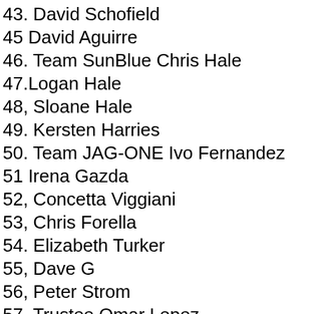43. David Schofield
45 David Aguirre
46. Team SunBlue Chris Hale
47.Logan Hale
48, Sloane Hale
49. Kersten Harries
50. Team JAG-ONE Ivo Fernandez
51 Irena Gazda
52, Concetta Viggiani
53, Chris Forella
54. Elizabeth Turker
55, Dave G
56, Peter Strom
57, Trustee Omar Lopez
58. ROB Capri & Pasta Ossining